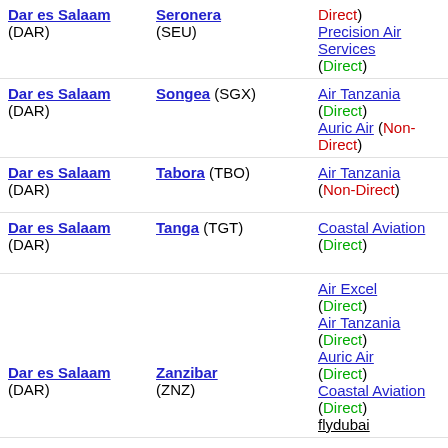| From | To | Airlines |
| --- | --- | --- |
| Dar es Salaam (DAR) | Seronera (SEU) | Direct) Precision Air Services (Direct) |
| Dar es Salaam (DAR) | Songea (SGX) | Air Tanzania (Direct) Auric Air (Non-Direct) |
| Dar es Salaam (DAR) | Tabora (TBO) | Air Tanzania (Non-Direct) |
| Dar es Salaam (DAR) | Tanga (TGT) | Coastal Aviation (Direct) |
| Dar es Salaam (DAR) | Zanzibar (ZNZ) | Air Excel (Direct) Air Tanzania (Direct) Auric Air (Direct) Coastal Aviation (Direct) flydubai |